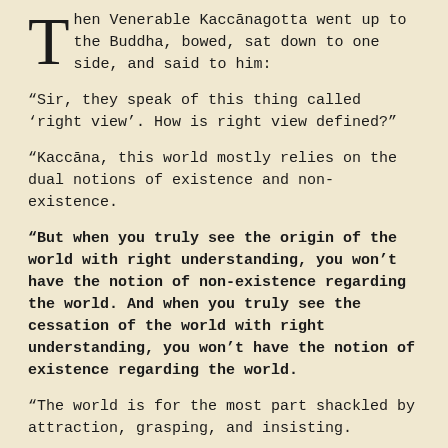Then Venerable Kaccānagotta went up to the Buddha, bowed, sat down to one side, and said to him:
“Sir, they speak of this thing called ‘right view’. How is right view defined?”
“Kaccāna, this world mostly relies on the dual notions of existence and non-existence.
“But when you truly see the origin of the world with right understanding, you won’t have the notion of non-existence regarding the world. And when you truly see the cessation of the world with right understanding, you won’t have the notion of existence regarding the world.
“The world is for the most part shackled by attraction, grasping, and insisting.